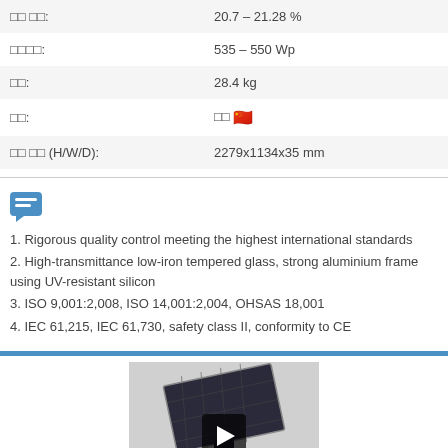| □□ □□: | 20.7 – 21.28 % |
| □□□□: | 535 – 550 Wp |
| □□: | 28.4 kg |
| □□: | □□ 🇨🇳 |
| □□ □□ (H/W/D): | 2279x1134x35 mm |
[Figure (other): Chat/message icon in blue]
1. Rigorous quality control meeting the highest international standards
2. High-transmittance low-iron tempered glass, strong aluminium frame using UV-resistant silicon
3. ISO 9,001:2,008, ISO 14,001:2,004, OHSAS 18,001
4. IEC 61,215, IEC 61,730, safety class II, conformity to CE
[Figure (photo): Solar panel product video thumbnail with play button]